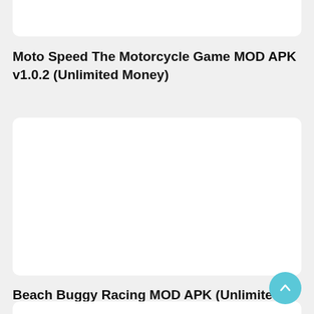[Figure (other): Partial white card at top, content cut off]
Moto Speed The Motorcycle Game MOD APK v1.0.2 (Unlimited Money)
[Figure (other): White card placeholder for game image, blank white rectangle]
Beach Buggy Racing MOD APK (Unlimited Money) 2022.06.06
[Figure (other): Partial white card at bottom, content cut off]